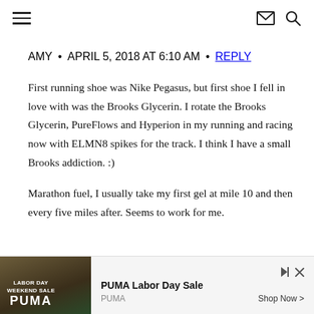navigation header with hamburger menu, mail icon, and search icon
AMY  •  APRIL 5, 2018 AT 6:10 AM  •  REPLY
First running shoe was Nike Pegasus, but first shoe I fell in love with was the Brooks Glycerin. I rotate the Brooks Glycerin, PureFlows and Hyperion in my running and racing now with ELMN8 spikes for the track. I think I have a small Brooks addiction. :)

Marathon fuel, I usually take my first gel at mile 10 and then every five miles after. Seems to work for me.
[Figure (other): Advertisement banner: PUMA Labor Day Sale ad with outdoor image, 'Ad' label, brand name 'PUMA', and 'Shop Now >' call to action]